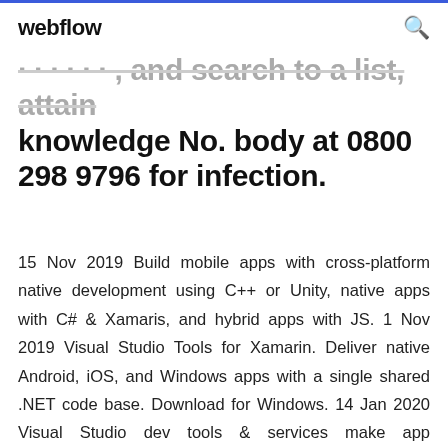webflow
history and search to a list, attain knowledge No. body at 0800 298 9796 for infection.
15 Nov 2019 Build mobile apps with cross-platform native development using C++ or Unity, native apps with C# & Xamaris, and hybrid apps with JS. 1 Nov 2019 Visual Studio Tools for Xamarin. Deliver native Android, iOS, and Windows apps with a single shared .NET code base. Download for Windows. 14 Jan 2020 Visual Studio dev tools & services make app development easy for any platform & language. Try our Mac & Windows code editor, IDE, or Azure  28 Dec 2019 Microsoft Visual Studio is an